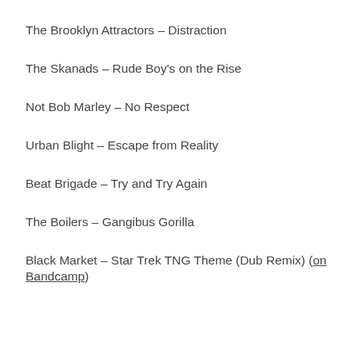The Brooklyn Attractors – Distraction
The Skanads – Rude Boy's on the Rise
Not Bob Marley – No Respect
Urban Blight – Escape from Reality
Beat Brigade – Try and Try Again
The Boilers – Gangibus Gorilla
Black Market – Star Trek TNG Theme (Dub Remix) (on Bandcamp)